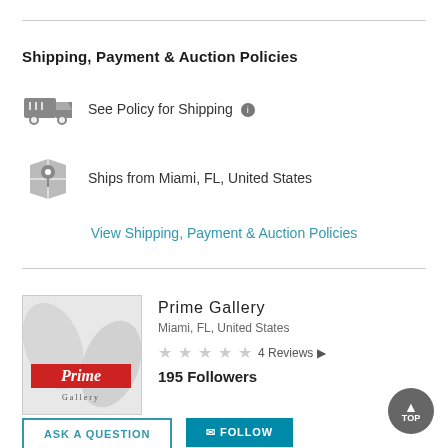Shipping, Payment & Auction Policies
See Policy for Shipping ℹ
Ships from Miami, FL, United States
View Shipping, Payment & Auction Policies
[Figure (logo): Prime Gallery logo — abstract silver/white background with overlapping wavy shapes and a red band containing the word 'Prime' in white italic serif font, with 'Gallery' in small text below]
Prime Gallery
Miami, FL, United States
4 Reviews ▶
195 Followers
ASK A QUESTION
✉ FOLLOW